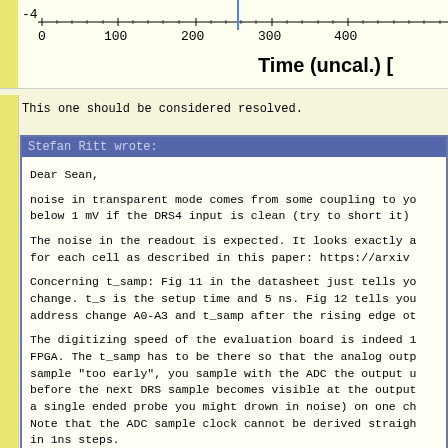[Figure (continuous-plot): Partial view of a waveform/time plot, showing x-axis labeled 'Time (uncal.) [' with tick marks at 0, 100, 200, 300, 400, and a y-axis value of -4 visible at top left. A vertical blue cursor marker is visible near 250.]
This one should be considered resolved.
Stefan Ritt wrote:
Dear Sean,

noise in transparent mode comes from some coupling to yo
below 1 mV if the DRS4 input is clean (try to short it)

The noise in the readout is expected. It looks exactly a
for each cell as described in this paper: https://arxiv

Concerning t_samp: Fig 11 in the datasheet just tells yo
change. t_s is the setup time and 5 ns. Fig 12 tells you
address change A0-A3 and t_samp after the rising edge ot

The digitizing speed of the evaluation board is indeed 1
FPGA. The t_samp has to be there so that the analog outp
sample "too early", you sample with the ADC the output u
before the next DRS sample becomes visible at the output
a single ended probe you might drown in noise) on one ch
Note that the ADC sample clock cannot be derived straigh
in 1ns steps.

But again, looking at your output, everything seems fine
to about 20 mV peak-to-peak. If you do the offset calibr